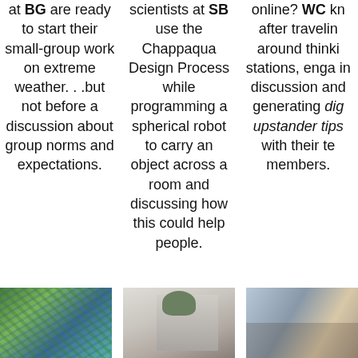at BG are ready to start their small-group work on extreme weather. . .but not before a discussion about group norms and expectations.
scientists at SB use the Chappaqua Design Process while programming a spherical robot to carry an object across a room and discussing how this could help people.
online? WC kn after travelin around thinki stations, enga in discussion and generating dig upstander tips with their te members.
[Figure (photo): Photo of colorful outdoor structure with green and blue elements]
[Figure (photo): Photo of a white/grey object, possibly a spherical robot, with green plant element]
[Figure (photo): Photo of students in a classroom setting]